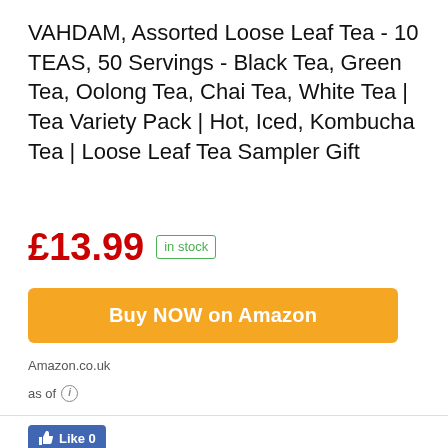VAHDAM, Assorted Loose Leaf Tea - 10 TEAS, 50 Servings - Black Tea, Green Tea, Oolong Tea, Chai Tea, White Tea | Tea Variety Pack | Hot, Iced, Kombucha Tea | Loose Leaf Tea Sampler Gift
£13.99  in stock
Buy NOW on Amazon
Amazon.co.uk
as of
[Figure (other): Facebook Like button showing thumbs up icon and 'Like 0' text on blue background]